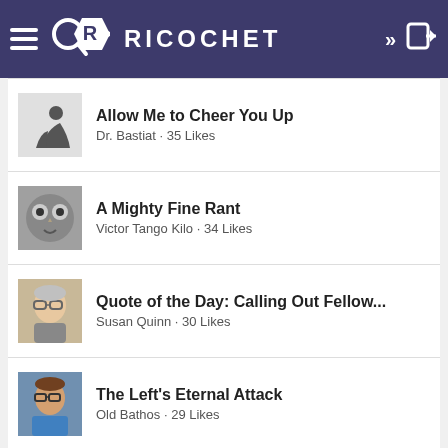RICOCHET
Allow Me to Cheer You Up
Dr. Bastiat · 35 Likes
A Mighty Fine Rant
Victor Tango Kilo · 34 Likes
Quote of the Day: Calling Out Fellow...
Susan Quinn · 30 Likes
The Left's Eternal Attack
Old Bathos · 29 Likes
We Need More Whistleblowers
Susan Quinn · 29 Likes